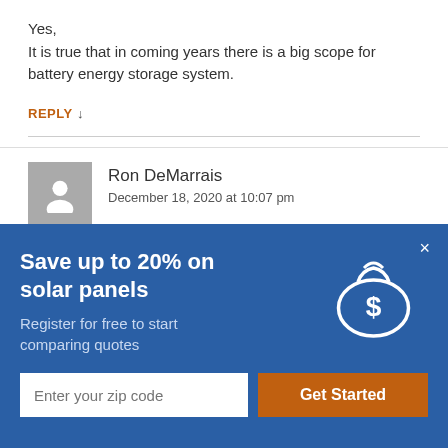Yes,
It is true that in coming years there is a big scope for battery energy storage system.
REPLY ↓
Ron DeMarrais
December 18, 2020 at 10:07 pm
[Figure (infographic): Modal popup with blue background promoting solar panel savings. Title: 'Save up to 20% on solar panels'. Subtitle: 'Register for free to start comparing quotes'. Money bag icon on the right. Form with zip code input and 'Get Started' button.]